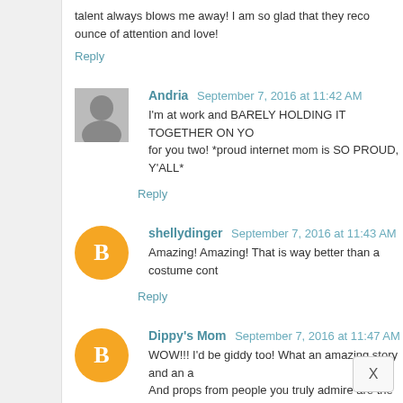talent always blows me away! I am so glad that they receive every ounce of attention and love!
Reply
Andria  September 7, 2016 at 11:42 AM
I'm at work and BARELY HOLDING IT TOGETHER ON YOUR BEHALF for you two! *proud internet mom is SO PROUD, Y'ALL*
Reply
shellydinger  September 7, 2016 at 11:43 AM
Amazing! Amazing! That is way better than a costume conte...
Reply
Dippy's Mom  September 7, 2016 at 11:47 AM
WOW!!! I'd be giddy too! What an amazing story and an a... And props from people you truly admire are the best kind. :
Reply